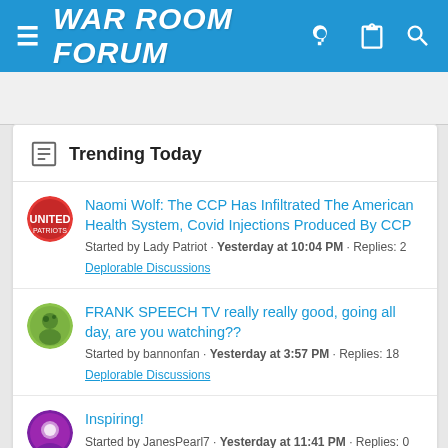WAR ROOM FORUM
Trending Today
Naomi Wolf: The CCP Has Infiltrated The American Health System, Covid Injections Produced By CCP
Started by Lady Patriot · Yesterday at 10:04 PM · Replies: 2
Deplorable Discussions
FRANK SPEECH TV really really good, going all day, are you watching??
Started by bannonfan · Yesterday at 3:57 PM · Replies: 18
Deplorable Discussions
Inspiring!
Started by JanesPearl7 · Yesterday at 11:41 PM · Replies: 0
Deplorable Discussions
GREAT QUESTION indeed about the COVID-UNVAXXED...
Started by Lady Patriot · Today at 12:33 AM · Replies: 0
Deplorable Discussions